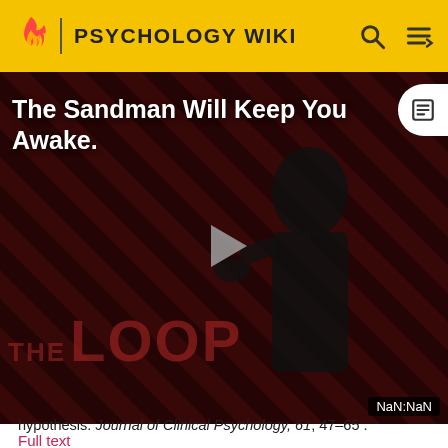PSYCHOLOGY WIKI
[Figure (screenshot): Video thumbnail for 'The Sandman Will Keep You Awake' with THE LOOP watermark, a dark-themed image with diagonal red/black stripes and a figure in black, showing a play button in the center and NaN:NaN timestamp]
hypothesis. Journal of Clinical Psychology, 61, 47-65 .
Full text
Quackenbush, S.W. (2005). Remythologizing culture: Narrativity, justification, and the politics of personalization. Journal of Clinical Psychology, 61, 67-80. Full text